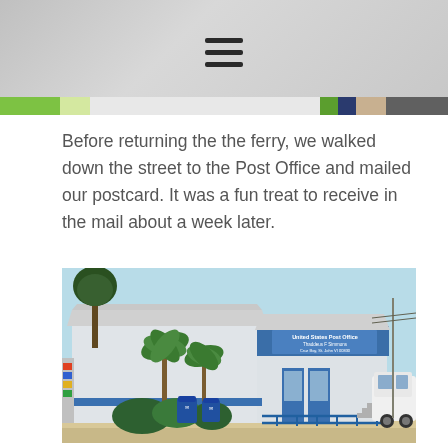[Website header banner with hamburger menu icon]
Before returning the the ferry, we walked down the street to the Post Office and mailed our postcard. It was a fun treat to receive in the mail about a week later.
[Figure (photo): Exterior photo of United States Post Office, Thaddeus F. Simmons, Cruz Bay, St. John VI 00830. A small white building with blue trim, blue mailboxes in front, palm trees, blue railing ramp, and a white SUV parked to the right.]